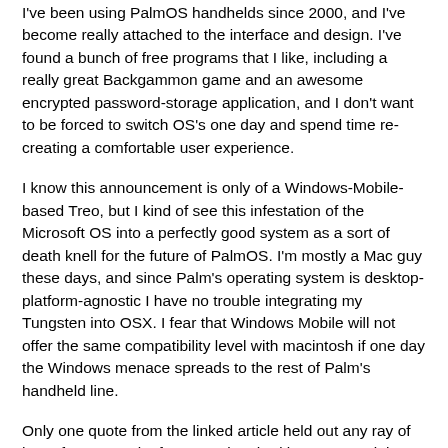I've been using PalmOS handhelds since 2000, and I've become really attached to the interface and design. I've found a bunch of free programs that I like, including a really great Backgammon game and an awesome encrypted password-storage application, and I don't want to be forced to switch OS's one day and spend time re-creating a comfortable user experience.
I know this announcement is only of a Windows-Mobile-based Treo, but I kind of see this infestation of the Microsoft OS into a perfectly good system as a sort of death knell for the future of PalmOS. I'm mostly a Mac guy these days, and since Palm's operating system is desktop-platform-agnostic I have no trouble integrating my Tungsten into OSX. I fear that Windows Mobile will not offer the same compatibility level with macintosh if one day the Windows menace spreads to the rest of Palm's handheld line.
Only one quote from the linked article held out any ray of hope for me: "Palm for some time had been entertaining the notion of a Windows-based device to woo corporate customers who are accustomed to Microsoft products and have been reluctant to buy Palm OS-based gadgets." It